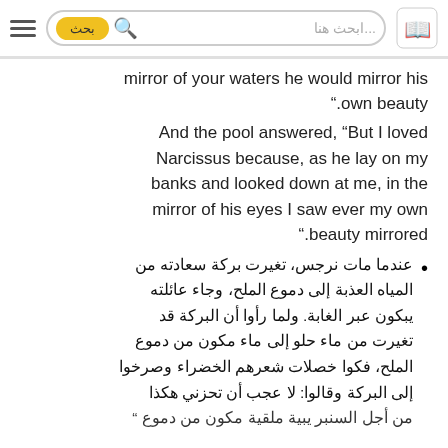ابحث هنا... [search bar with بحث button and logo]
mirror of your waters he would mirror his own beauty".
And the pool answered, “But I loved Narcissus because, as he lay on my banks and looked down at me, in the mirror of his eyes I saw ever my own beauty mirrored".
عندما مات نرجس، تغيرت بركة سعادته من المياه العذبة إلى دموع الملح، وجاء عائلته يبكون عبر الغابة. ولما رأوا أن البركة قد تغيرت من ماء حلو إلى ماء مكون من دموع الملح، فكوا خصلات شعرهم الخضراء وصرخوا إلى البركة وقالوا: لا عجب أن تحزني هكذا